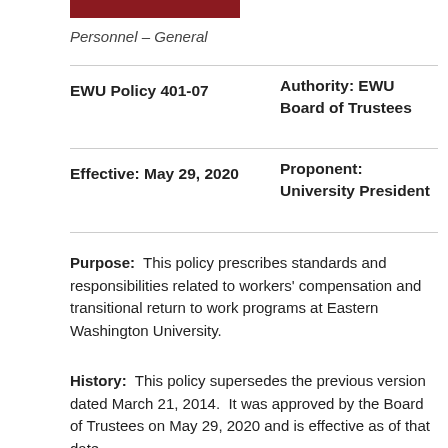Personnel – General
| EWU Policy 401-07 | Authority: EWU
Board of Trustees |
| Effective: May 29, 2020 | Proponent:
University President |
Purpose:  This policy prescribes standards and responsibilities related to workers' compensation and transitional return to work programs at Eastern Washington University.
History:  This policy supersedes the previous version dated March 21, 2014.  It was approved by the Board of Trustees on May 29, 2020 and is effective as of that date.